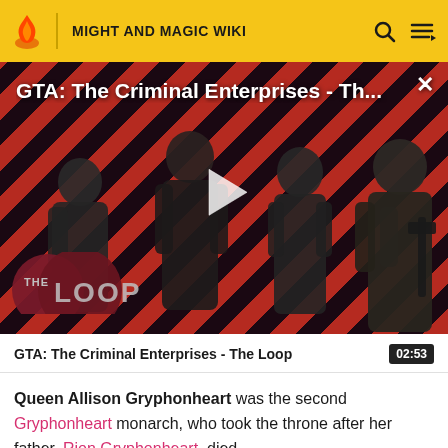MIGHT AND MAGIC WIKI
[Figure (screenshot): GTA: The Criminal Enterprises - The Loop video thumbnail with diagonal red and dark stripes background, four game characters, The Loop logo, and a play button overlay]
GTA: The Criminal Enterprises - The Loop  02:53
Queen Allison Gryphonheart was the second Gryphonheart monarch, who took the throne after her father, Rion Gryphonheart, died.